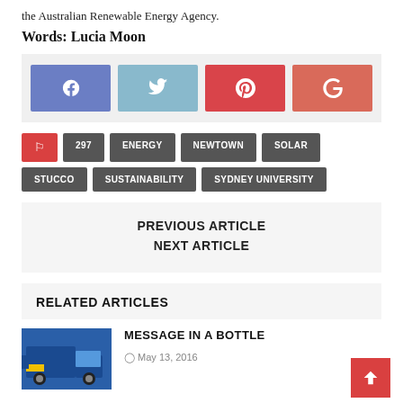the Australian Renewable Energy Agency.
Words: Lucia Moon
[Figure (infographic): Social sharing buttons: Facebook (blue), Twitter (light blue), Pinterest (red), Google+ (salmon red)]
297
ENERGY
NEWTOWN
SOLAR
STUCCO
SUSTAINABILITY
SYDNEY UNIVERSITY
PREVIOUS ARTICLE
NEXT ARTICLE
RELATED ARTICLES
MESSAGE IN A BOTTLE
May 13, 2016